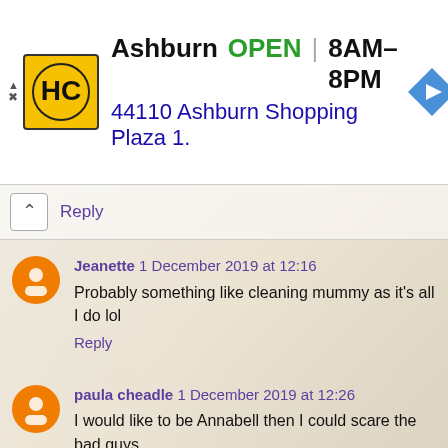[Figure (other): Advertisement banner for HC (Helpful Corn/Convenience store) showing location in Ashburn, OPEN 8AM-8PM, address 44110 Ashburn Shopping Plaza 1., with store logo and navigation arrow icon]
Reply
Jeanette 1 December 2019 at 12:16
Probably something like cleaning mummy as it's all I do lol
Reply
paula cheadle 1 December 2019 at 12:26
I would like to be Annabell then I could scare the bad guys
Reply
Allan Fullarton 1 December 2019 at 14:12
I would be Tommy the Tortoise, i walk really slowly.